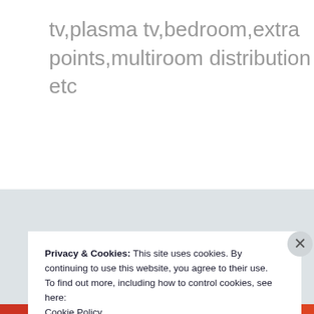tv,plasma tv,bedroom,extra points,multiroom distribution etc
OLDER POSTS
Privacy & Cookies: This site uses cookies. By continuing to use this website, you agree to their use.
To find out more, including how to control cookies, see here:
Cookie Policy
Close and accept